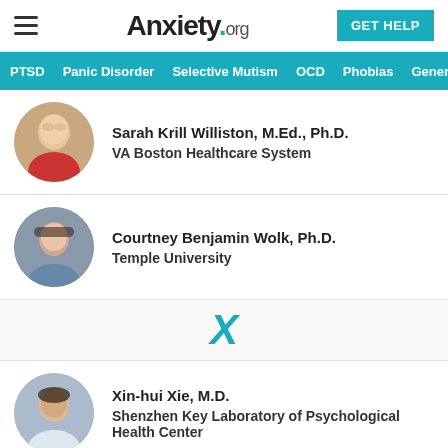Anxiety.org | GET HELP
PTSD | Panic Disorder | Selective Mutism | OCD | Phobias | Generalize
Sarah Krill Williston, M.Ed., Ph.D.
VA Boston Healthcare System
Courtney Benjamin Wolk, Ph.D.
Temple University
X
Xin-hui Xie, M.D.
Shenzhen Key Laboratory of Psychological Health Center
Y
Y... M.D., Ph.D.